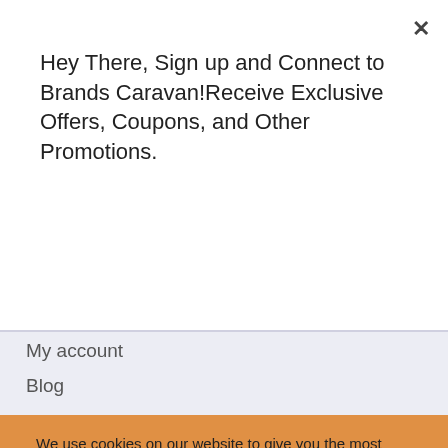Hey There, Sign up and Connect to Brands Caravan!Receive Exclusive Offers, Coupons, and Other Promotions.
Subscribe
My account
Blog
We use cookies on our website to give you the most relevant experience by remembering your preferences and repeat visits. By clicking "Accept All", you consent to the use of ALL the cookies. However, you may visit "Cookie Settings" to provide a controlled consent.
Cookie Settings
Accept All